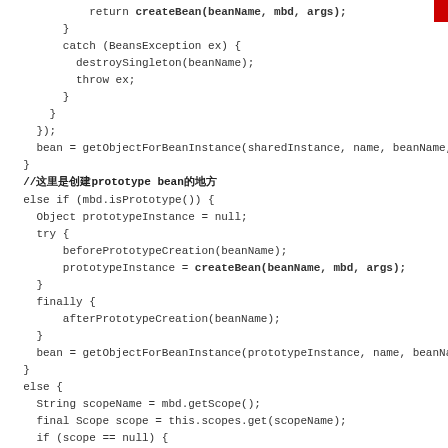Code snippet showing Java Spring bean creation logic including singleton, prototype, and scope-based bean instantiation patterns.